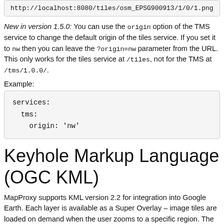http://localhost:8080/tiles/osm_EPSG900913/1/0/1.png
New in version 1.5.0: You can use the origin option of the TMS service to change the default origin of the tiles service. If you set it to nw then you can leave the ?origin=nw parameter from the URL. This only works for the tiles service at /tiles, not for the TMS at /tms/1.0.0/.
Example:
services:
  tms:
    origin: 'nw'
Keyhole Markup Language (OGC KML)
MapProxy supports KML version 2.2 for integration into Google Earth. Each layer is available as a Super Overlay – image tiles are loaded on demand when the user zooms to a specific region. The initial KML file is available at ...